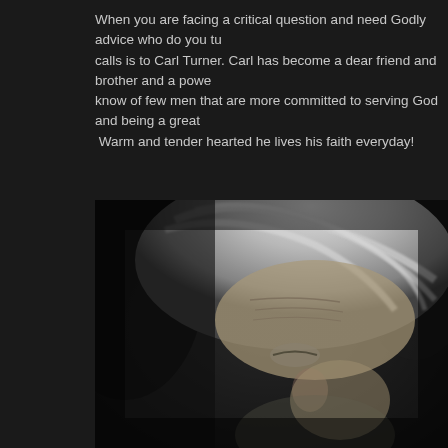When you are facing a critical question and need Godly advice who do you turn to? One of my first calls is to Carl Turner. Carl has become a dear friend and brother and a powerful voice in my life. I know of few men that are more committed to serving God and being a great husband and father. Warm and tender hearted he lives his faith everyday!
[Figure (photo): Black and white close-up portrait photograph of an older man with silver/white flowing hair, head bowed slightly downward, eyes closed or nearly closed, with visible forehead wrinkles. The background is dark/black.]